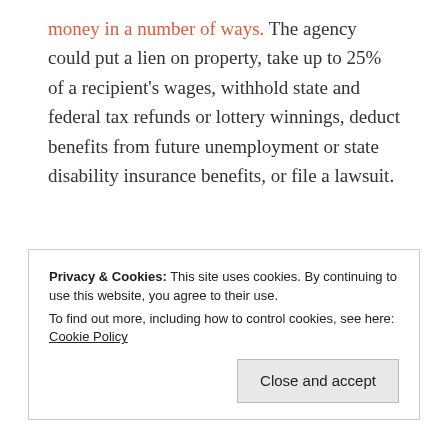money in a number of ways. The agency could put a lien on property, take up to 25% of a recipient's wages, withhold state and federal tax refunds or lottery winnings, deduct benefits from future unemployment or state disability insurance benefits, or file a lawsuit.
Source: The OC Register
Privacy & Cookies: This site uses cookies. By continuing to use this website, you agree to their use.
To find out more, including how to control cookies, see here: Cookie Policy
Close and accept